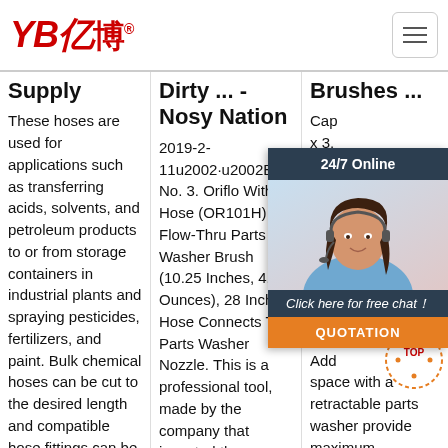[Figure (logo): YB亿博 company logo in red italic text with registered trademark symbol, and hamburger menu button on the right]
Supply
These hoses are used for applications such as transferring acids, solvents, and petroleum products to or from storage containers in industrial plants and spraying pesticides, fertilizers, and paint. Bulk chemical hoses can be cut to the desired length and compatible hose fittings can be added to the ends of the hoses to create custom hose
Dirty ... - Nosy Nation
2019-2-11u2002·u2002Bestseller No. 3. Oriflo With Hose (OR101H) Flow-Thru Parts Washer Brush (10.25 Inches, 4.25 Ounces), 28 Inch Hose Connects To Parts Washer Nozzle. This is a professional tool, made by the company that invented the modern, flow-thru parts cleaning brush. Hose fits .50'
Brushes ...
Cap x 3. PTF 'lon 'The Dow 3.5- Was hea con pow Add space with a retractable parts washer provide maximum convenience. 4in. poly swivel casters allow smooth
[Figure (infographic): 24/7 Online chat widget with customer service representative photo, 'Click here for free chat!' text, and orange QUOTATION button]
[Figure (logo): TOP badge logo in red/orange with dot pattern]